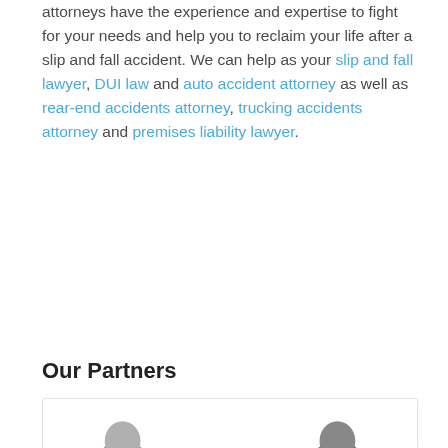attorneys have the experience and expertise to fight for your needs and help you to reclaim your life after a slip and fall accident. We can help as your slip and fall lawyer, DUI law and auto accident attorney as well as rear-end accidents attorney, trucking accidents attorney and premises liability lawyer.
Our Partners
[Figure (photo): Two partner headshot photos partially visible at the bottom of the page inside a bordered box]